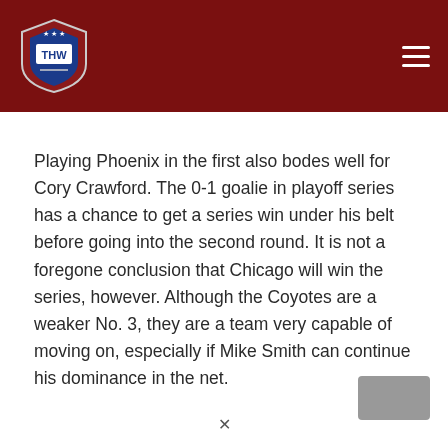THW
Playing Phoenix in the first also bodes well for Cory Crawford. The 0-1 goalie in playoff series has a chance to get a series win under his belt before going into the second round. It is not a foregone conclusion that Chicago will win the series, however. Although the Coyotes are a weaker No. 3, they are a team very capable of moving on, especially if Mike Smith can continue his dominance in the net.